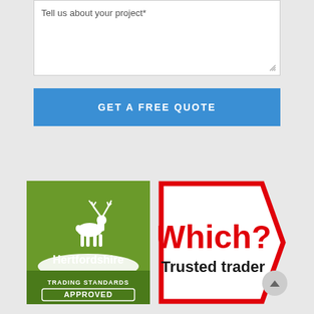Tell us about your project*
GET A FREE QUOTE
[Figure (logo): Hertfordshire Trading Standards Approved logo - green square badge with white deer silhouette and text]
[Figure (logo): Which? Trusted Trader logo - red arrow/hexagon shape with Which? in red and Trusted trader in black]